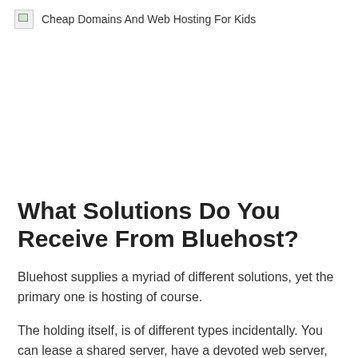Cheap Domains And Web Hosting For Kids
What Solutions Do You Receive From Bluehost?
Bluehost supplies a myriad of different solutions, yet the primary one is hosting of course.
The holding itself, is of different types incidentally. You can lease a shared server, have a devoted web server, or likewise an